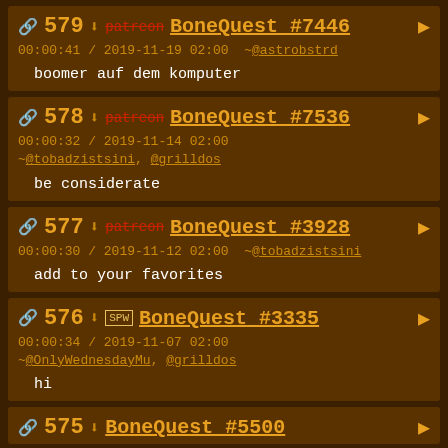579 [patreon] BoneQuest #7446 ▶ 00:00:41 / 2019-11-19 02:00 ~@astrobstrd
boomer auf dem komputer
578 [patreon] BoneQuest #7536 ▶ 00:00:32 / 2019-11-14 02:00 ~@tobadzistsini, @grilldos
be considerate
577 [patreon] BoneQuest #3928 ▶ 00:00:30 / 2019-11-12 02:00 ~@tobadzistsini
add to your favorites
576 [SPW] BoneQuest #3335 ▶ 00:00:34 / 2019-11-07 02:00 ~@OnlyWednesdayMu, @grilldos
hi
575 BoneQuest #5500 ▶ (partial)